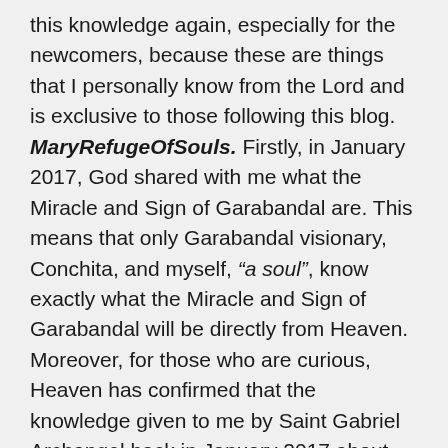this knowledge again, especially for the newcomers, because these are things that I personally know from the Lord and is exclusive to those following this blog. MaryRefugeOfSouls. Firstly, in January 2017, God shared with me what the Miracle and Sign of Garabandal are. This means that only Garabandal visionary, Conchita, and myself, "a soul", know exactly what the Miracle and Sign of Garabandal will be directly from Heaven. Moreover, for those who are curious, Heaven has confirmed that the knowledge given to me by Saint Gabriel Archangel back in January 2017 about the Miracle and Sign of Garabandal is CORRECT. This knowledge has been confirmed multiple times over a 3-year period by both Papa God and Our Lord, Jesus Christ, to FOUR different and independent chosen messengers of God who are known to me, "a soul", and they do not know each other.